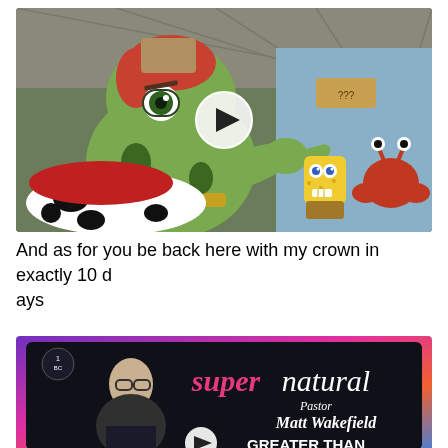[Figure (screenshot): Video thumbnail showing SpongeBob SquarePants animated scene with a large green character pointing, SpongeBob, and Mr. Krabs visible. A white circular play button overlay is centered on the image.]
And as for you be back here with my crown in exactly 10 days
[Figure (screenshot): Video thumbnail with gradient purple/pink/blue border, showing a man speaking at a podium on a dark background with 'supernatural' text in pink/purple and white, 'Pastor Matt Wakefield' and 'GREATER THAN' text visible, with a play button overlay.]